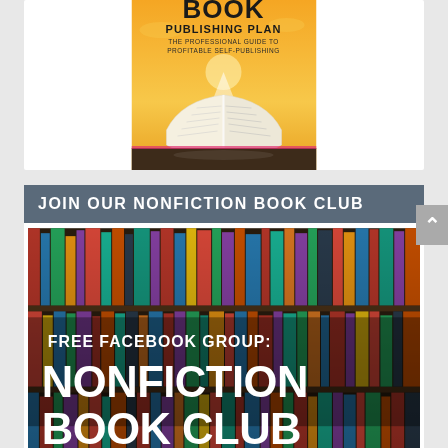[Figure (illustration): Book cover: 'Book Publishing Plan – The Professional Guide to Profitable Self-Publishing' with an open book glowing on a golden/orange background]
JOIN OUR NONFICTION BOOK CLUB
[Figure (photo): Photo of colorful bookshelves with overlaid white bold text reading 'FREE FACEBOOK GROUP: NONFICTION BOOK CLUB']